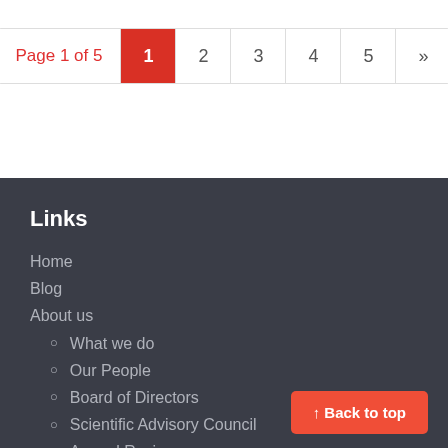Page 1 of 5  1  2  3  4  5  »
Links
Home
Blog
About us
What we do
Our People
Board of Directors
Scientific Advisory Council
Annual Reviews
In the Media
Our Work